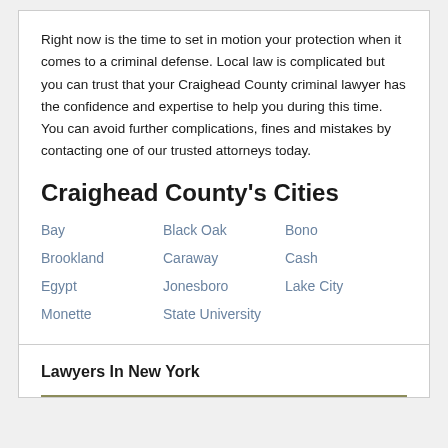Right now is the time to set in motion your protection when it comes to a criminal defense. Local law is complicated but you can trust that your Craighead County criminal lawyer has the confidence and expertise to help you during this time. You can avoid further complications, fines and mistakes by contacting one of our trusted attorneys today.
Craighead County's Cities
Bay
Black Oak
Bono
Brookland
Caraway
Cash
Egypt
Jonesboro
Lake City
Monette
State University
Lawyers In New York